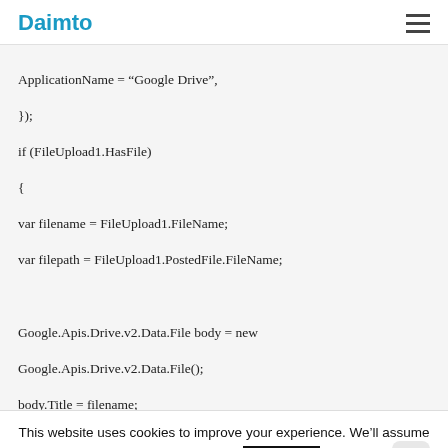Daimto
ApplicationName = “Google Drive”,
});
if (FileUpload1.HasFile)
{
var filename = FileUpload1.FileName;
var filepath = FileUpload1.PostedFile.FileName;

Google.Apis.Drive.v2.Data.File body = new Google.Apis.Drive.v2.Data.File();
body.Title = filename;
body.Description = “Documents”;
body.MimeType =GetMimeType(filename);
body.Parents = new List() { new ParentReference() { Id =”root” } };
//byte[] array = System.IO.File.ReadAllBytes(filepath);
This website uses cookies to improve your experience. We’ll assume you’re ok with this
Accept